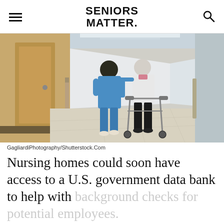SENIORS MATTER.
[Figure (photo): A nurse in blue scrubs walks beside an elderly woman using a walker, both seen from behind in a bright hospital corridor.]
GagliardiPhotography/Shutterstock.Com
Nursing homes could soon have access to a U.S. government data bank to help with background checks for potential employees.